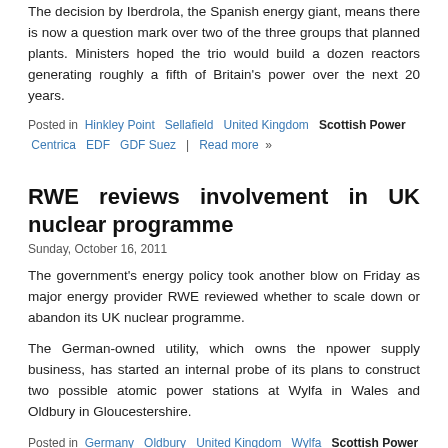The decision by Iberdrola, the Spanish energy giant, means there is now a question mark over two of the three groups that planned plants. Ministers hoped the trio would build a dozen reactors generating roughly a fifth of Britain's power over the next 20 years.
Posted in  Hinkley Point  Sellafield  United Kingdom  Scottish Power  Centrica  EDF  GDF Suez  |  Read more  »
RWE reviews involvement in UK nuclear programme
Sunday, October 16, 2011
The government's energy policy took another blow on Friday as major energy provider RWE reviewed whether to scale down or abandon its UK nuclear programme.
The German-owned utility, which owns the npower supply business, has started an internal probe of its plans to construct two possible atomic power stations at Wylfa in Wales and Oldbury in Gloucestershire.
Posted in  Germany  Oldbury  United Kingdom  Wylfa  Scottish Power  Gazprom  RWE  Scottish and Southern Energy  |  Read more  »
Utilities to issue warning on carbon price
Tuesday, October 26, 2010